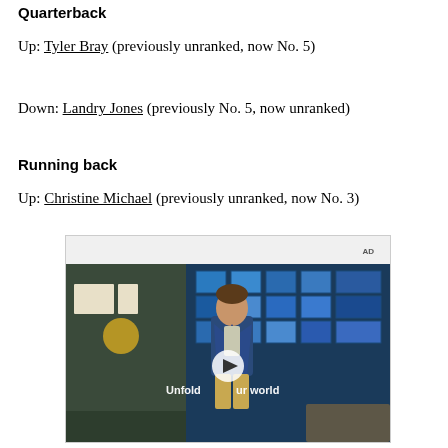Quarterback
Up: Tyler Bray (previously unranked, now No. 5)
Down: Landry Jones (previously No. 5, now unranked)
Running back
Up: Christine Michael (previously unranked, now No. 3)
[Figure (screenshot): Video advertisement showing a young man in a denim jacket standing in a cafeteria-like setting with tiled windows behind him. Text reads 'Unfold your world' with a play button overlay. AD label in top right corner.]